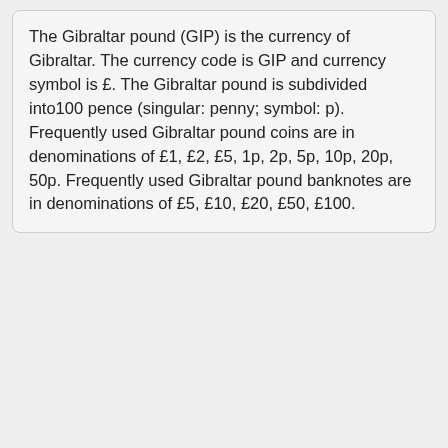The Gibraltar pound (GIP) is the currency of Gibraltar. The currency code is GIP and currency symbol is £. The Gibraltar pound is subdivided into100 pence (singular: penny; symbol: p). Frequently used Gibraltar pound coins are in denominations of £1, £2, £5, 1p, 2p, 5p, 10p, 20p, 50p. Frequently used Gibraltar pound banknotes are in denominations of £5, £10, £20, £50, £100.